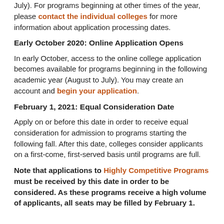July). For programs beginning at other times of the year, please contact the individual colleges for more information about application processing dates.
Early October 2020: Online Application Opens
In early October, access to the online college application becomes available for programs beginning in the following academic year (August to July). You may create an account and begin your application.
February 1, 2021: Equal Consideration Date
Apply on or before this date in order to receive equal consideration for admission to programs starting the following fall. After this date, colleges consider applicants on a first-come, first-served basis until programs are full.
Note that applications to Highly Competitive Programs must be received by this date in order to be considered. As these programs receive a high volume of applicants, all seats may be filled by February 1.